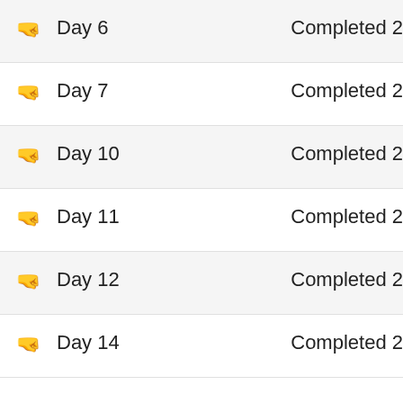Day 6 — Completed 2
Day 7 — Completed 2
Day 10 — Completed 2
Day 11 — Completed 2
Day 12 — Completed 2
Day 14 — Completed 2